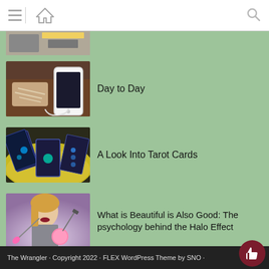The Wrangler — navigation header with hamburger menu and home icon
[Figure (photo): Partial image of keyboard/desk items at top]
[Figure (photo): Hands tied together with charging cable and smartphone on wooden surface]
Day to Day
[Figure (photo): Tarot cards spread on yellow fabric with dark background]
A Look Into Tarot Cards
[Figure (photo): Blonde woman with makeup brushes and beauty sponge on purple background]
What is Beautiful is Also Good: The psychology behind the Halo Effect
The Wrangler · Copyright 2022 · FLEX WordPress Theme by SNO ·